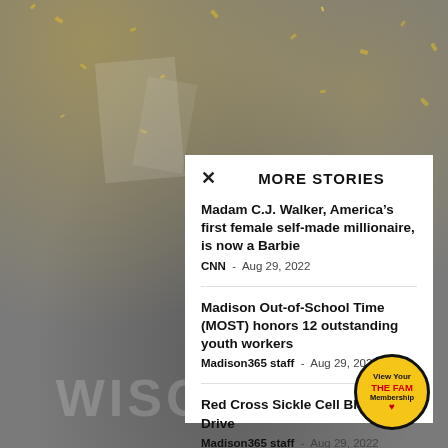[Figure (photo): Dark grey background with gold confetti falling from above and 'WISCONSIN' text faintly visible at the bottom]
× MORE STORIES
Madam C.J. Walker, America's first female self-made millionaire, is now a Barbie
CNN - Aug 29, 2022
Madison Out-of-School Time (MOST) honors 12 outstanding youth workers
Madison365 staff - Aug 29, 2022
Red Cross Sickle Cell Blood Drive
Madison365 staff - Aug 29, 2022
[Figure (logo): Circular badge: 'View Your THE FAM Membership' with red heart, yellow background, black border]